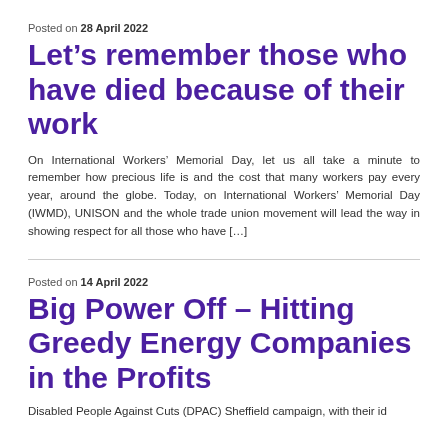Posted on 28 April 2022
Let’s remember those who have died because of their work
On International Workers’ Memorial Day, let us all take a minute to remember how precious life is and the cost that many workers pay every year, around the globe. Today, on International Workers’ Memorial Day (IWMD), UNISON and the whole trade union movement will lead the way in showing respect for all those who have […]
Posted on 14 April 2022
Big Power Off – Hitting Greedy Energy Companies in the Profits
Disabled People Against Cuts (DPAC) Sheffield campaign, with their id...